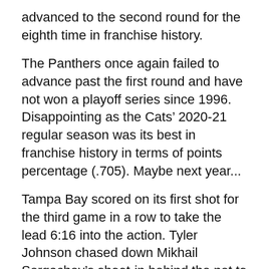advanced to the second round for the eighth time in franchise history.
The Panthers once again failed to advance past the first round and have not won a playoff series since 1996. Disappointing as the Cats’ 2020-21 regular season was its best in franchise history in terms of points percentage (.705). Maybe next year...
Tampa Bay scored on its first shot for the third game in a row to take the lead 6:16 into the action. Tyler Johnson chased down Mikhail Sergachev’s shoot-in behind the net to negate an icing and threw the puck out in front. MacKenzie Weegar got a stick on the pass, but instead of leaving the danger area, the puck hung up in the air and Pat Maroon was able to jam it past Spencer Knight.